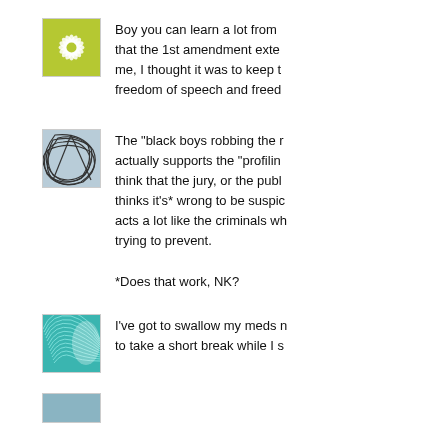[Figure (illustration): Green flower/starburst pattern avatar icon]
Boy you can learn a lot from that the 1st amendment exte me, I thought it was to keep t freedom of speech and freed
[Figure (illustration): Abstract dark blue tangled lines on light blue background avatar icon]
The "black boys robbing the r actually supports the "profilin think that the jury, or the publ thinks it's* wrong to be suspic acts a lot like the criminals wh trying to prevent.

*Does that work, NK?
[Figure (illustration): Teal/turquoise geometric wave pattern avatar icon]
I've got to swallow my meds n to take a short break while I s
[Figure (illustration): Partial avatar icon at bottom, cut off]